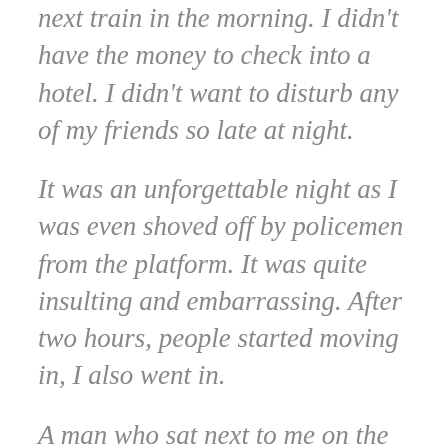next train in the morning. I didn't have the money to check into a hotel. I didn't want to disturb any of my friends so late at night.
It was an unforgettable night as I was even shoved off by policemen from the platform. It was quite insulting and embarrassing. After two hours, people started moving in, I also went in.
A man who sat next to me on the platform gave me a newspaper so that I could sleep. I spread the newspaper and slept on the platform! I sleep well. I got my ticket refund in the morning and went back to Ahmadabad